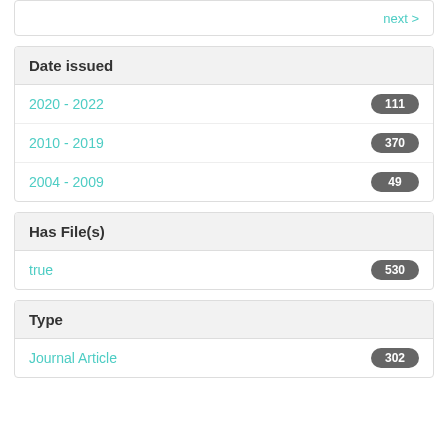next >
Date issued
2020 - 2022   111
2010 - 2019   370
2004 - 2009   49
Has File(s)
true   530
Type
Journal Article   302